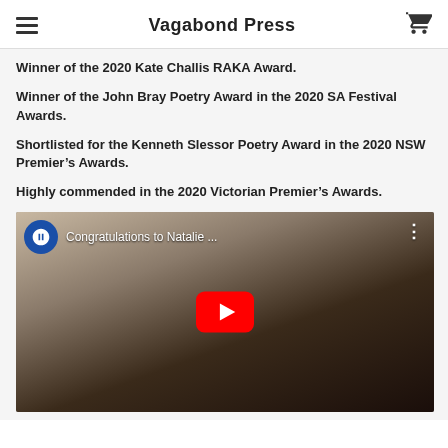Vagabond Press
Winner of the 2020 Kate Challis RAKA Award.
Winner of the John Bray Poetry Award in the 2020 SA Festival Awards.
Shortlisted for the Kenneth Slessor Poetry Award in the 2020 NSW Premier’s Awards.
Highly commended in the 2020 Victorian Premier’s Awards.
[Figure (screenshot): YouTube video thumbnail showing a woman with dark hair smiling, with video title 'Congratulations to Natalie ...' and a red YouTube play button in the center. A blue university channel avatar is shown in the top left corner.]